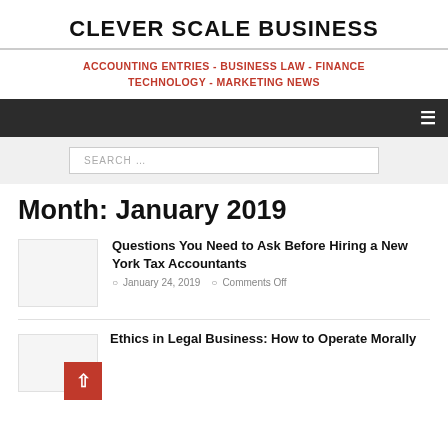CLEVER SCALE BUSINESS
ACCOUNTING ENTRIES - BUSINESS LAW - FINANCE TECHNOLOGY - MARKETING NEWS
SEARCH …
Month: January 2019
Questions You Need to Ask Before Hiring a New York Tax Accountants
January 24, 2019   Comments Off
Ethics in Legal Business: How to Operate Morally